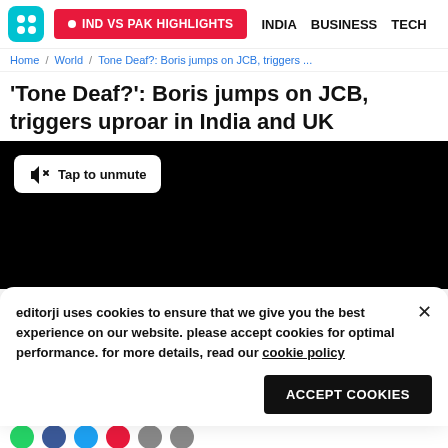IND VS PAK HIGHLIGHTS | INDIA | BUSINESS | TECH
Home / World / Tone Deaf?: Boris jumps on JCB, triggers ...
'Tone Deaf?': Boris jumps on JCB, triggers uproar in India and UK
[Figure (screenshot): Embedded video player with black background and 'Tap to unmute' button overlay]
editorji uses cookies to ensure that we give you the best experience on our website. please accept cookies for optimal performance. for more details, read our cookie policy
ACCEPT COOKIES